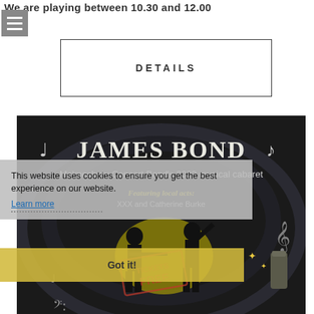We are playing between 10.30 and 12.00
[Figure (other): Hamburger menu button (three horizontal white lines on grey background)]
DETAILS
[Figure (illustration): James Bond themed poster: 'JAMES BOND - Malmesbury Concert Band's 2022 musical cabaret - Featuring local acts: XXX and Catherine Burke - TICKETS: FREE' with silhouettes of musicians playing instruments on dark background with decorative musical elements and cocktail shaker]
This website uses cookies to ensure you get the best experience on our website.
Learn more
Got it!